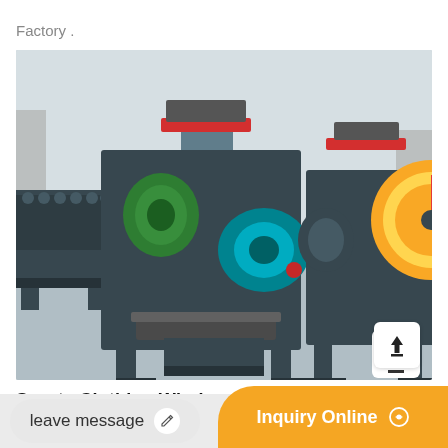Factory .
[Figure (photo): Industrial briquette press machines (charcoal/coal ball press) on display in a factory warehouse. Multiple dark blue/gray machines with green and teal rollers and red-trimmed hoppers are visible on a gray concrete floor. A large yellow machine wheel is partially visible at the right edge.]
Sports Clothing Wholesale Custom Athletic
leave message
Inquiry Online